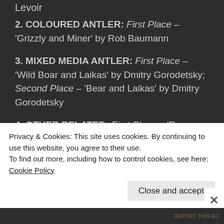Levoir
2. COLOURED ANTLER: First Place – 'Grizzly and Miner' by Rob Baumann
3. MIXED MEDIA ANTLER: First Place – 'Wild Boar and Laikas' by Dmitry Gorodetsky; Second Place – 'Bear and Laikas' by Dmitry Gorodetsky
4. OTHER RELATED: First Place – 'Rams and Cougars' (big horn ram horn) by Tom Anderson (OLPA); Second Place – 'Caribou' (musk oxen horn)
Privacy & Cookies: This site uses cookies. By continuing to use this website, you agree to their use.
To find out more, including how to control cookies, see here: Cookie Policy
Close and accept